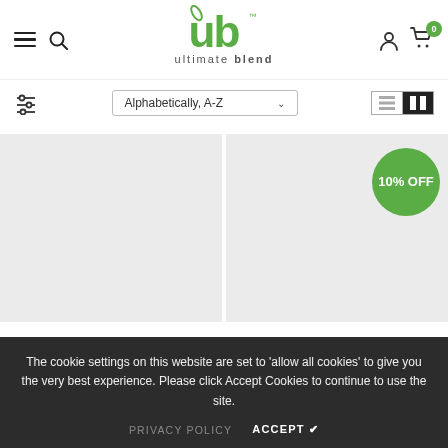[Figure (logo): Ultimate Blend logo with green 'ub' monogram and leaf, with 'ultimate blend' text below]
[Figure (screenshot): Navigation toolbar with filter icon on left, Alphabetically A-Z sort dropdown in center, list/grid view toggle on right]
[Figure (photo): Two product cards side by side with gray placeholder backgrounds; right card has green circular badge showing 10% OFF]
The cookie settings on this website are set to 'allow all cookies' to give you the very best experience. Please click Accept Cookies to continue to use the site.
PRIVACY POLICY   ACCEPT ✔